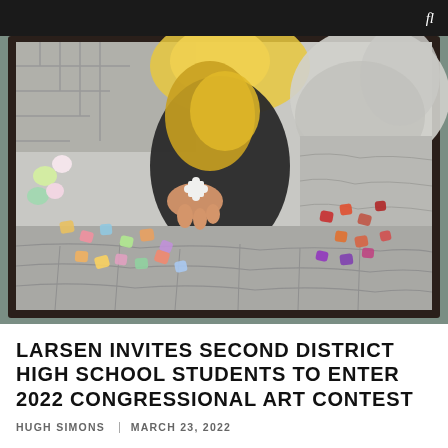[Figure (photo): A framed artwork/painting displayed against a wall showing two hands — one holding a colorful puzzle piece above a pile of scattered multicolored puzzle pieces. The left side of the painting has pastel-colored puzzle pieces and flowers against gray stone, while the right side shows more gray stone texture with red, orange, and purple pieces scattered. The upper portion shows a figure wearing a yellow and black top against a gray abstract background with steps visible.]
LARSEN INVITES SECOND DISTRICT HIGH SCHOOL STUDENTS TO ENTER 2022 CONGRESSIONAL ART CONTEST
HUGH SIMONS | MARCH 23, 2022